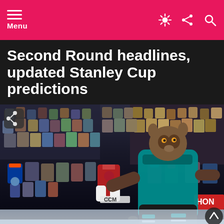Menu
Second Round headlines, updated Stanley Cup predictions
by Mike Cratty · 6 years ago
[Figure (photo): A San Jose Sharks mascot in teal jersey and hockey gear performing a trick shot on ice, surrounded by colorful crowd and NHL players/mascots in the background at what appears to be an NHL All-Star event. A HOND[A) sign is visible in the background.]